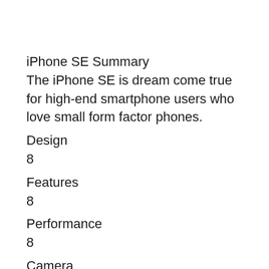iPhone SE
Summary
The iPhone SE is dream come true for high-end smartphone users who love small form factor phones.
Design
8
Features
8
Performance
8
Camera